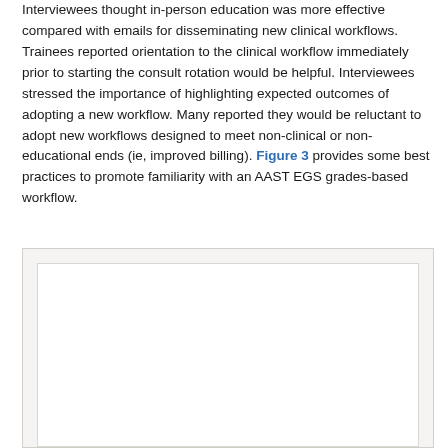Interviewees thought in-person education was more effective compared with emails for disseminating new clinical workflows. Trainees reported orientation to the clinical workflow immediately prior to starting the consult rotation would be helpful. Interviewees stressed the importance of highlighting expected outcomes of adopting a new workflow. Many reported they would be reluctant to adopt new workflows designed to meet non-clinical or non-educational ends (ie, improved billing). Figure 3 provides some best practices to promote familiarity with an AAST EGS grades-based workflow.
[Figure (other): Figure 3: A partially visible figure box with white interior, showing best practices to promote familiarity with an AAST EGS grades-based workflow. The figure content is cut off at the bottom of the page.]